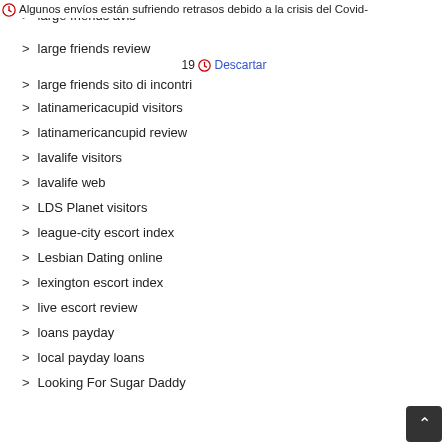large friends avis
Algunos envíos están sufriendo retrasos debido a la crisis del Covid-
large friends review
19  Descartar
large friends sito di incontri
latinamericacupid visitors
latinamericancupid review
lavalife visitors
lavalife web
LDS Planet visitors
league-city escort index
Lesbian Dating online
lexington escort index
live escort review
loans payday
local payday loans
Looking For Sugar Daddy